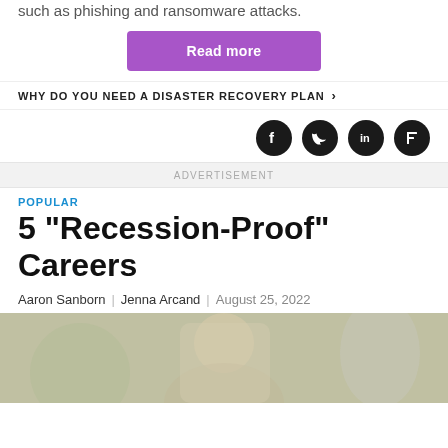such as phishing and ransomware attacks.
Read more
WHY DO YOU NEED A DISASTER RECOVERY PLAN ›
[Figure (other): Social media icons: Facebook, Twitter, LinkedIn, Flipboard]
ADVERTISEMENT
POPULAR
5 "Recession-Proof" Careers
Aaron Sanborn | Jenna Arcand | August 25, 2022
[Figure (photo): Photo of people, appears to show a person in a kitchen or restaurant setting]